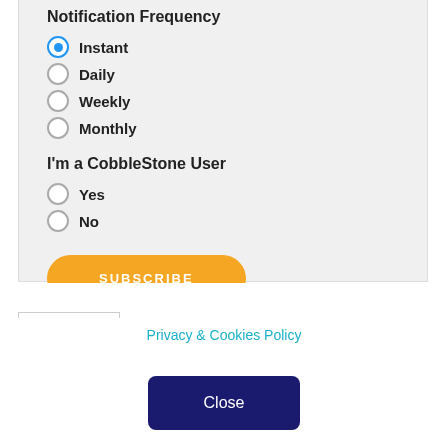Notification Frequency
Instant (selected)
Daily
Weekly
Monthly
I'm a CobbleStone User
Yes
No
SUBSCRIBE
Recent
Popular
Categories
Privacy & Cookies Policy
Close